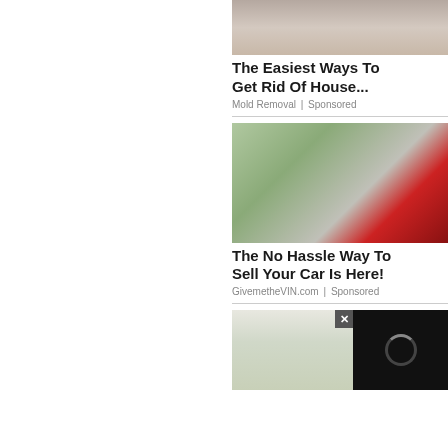[Figure (photo): Partial image of a mold-related indoor scene, cropped at top]
The Easiest Ways To Get Rid Of House...
Mold Removal | Sponsored
[Figure (photo): Man standing next to a red sports car (Porsche) holding a sign, outdoor setting]
The No Hassle Way To Sell Your Car Is Here!
GivemetheVIN.com | Sponsored
[Figure (photo): Person holding a green smoothie shaker cup, with a video overlay showing a loading spinner and a close (x) button]